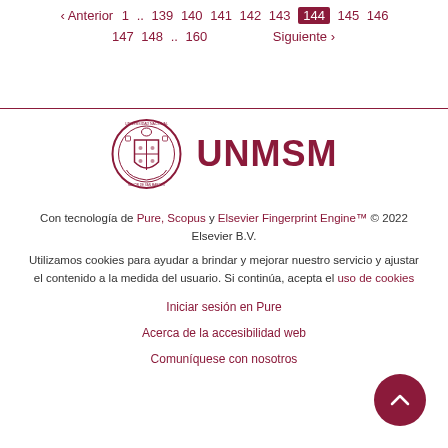‹ Anterior  1 .. 139 140 141 142 143 144 145 146 147 148 .. 160  Siguiente ›
[Figure (logo): UNMSM university crest/seal logo alongside the text UNMSM in bold dark red]
Con tecnología de Pure, Scopus y Elsevier Fingerprint Engine™ © 2022 Elsevier B.V.
Utilizamos cookies para ayudar a brindar y mejorar nuestro servicio y ajustar el contenido a la medida del usuario. Si continúa, acepta el uso de cookies
Iniciar sesión en Pure
Acerca de la accesibilidad web
Comuníquese con nosotros